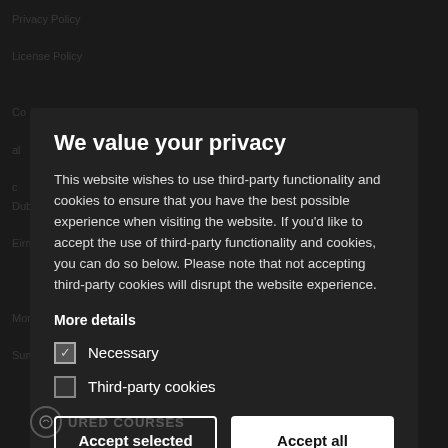We value your privacy
This website wishes to use third-party functionality and cookies to ensure that you have the best possible experience when visiting the website. If you'd like to accept the use of third-party functionality and cookies, you can do so below. Please note that not accepting third-party cookies will disrupt the website experience.
More details
Necessary
Third-party cookies
Accept selected
Accept all
URED COURSES